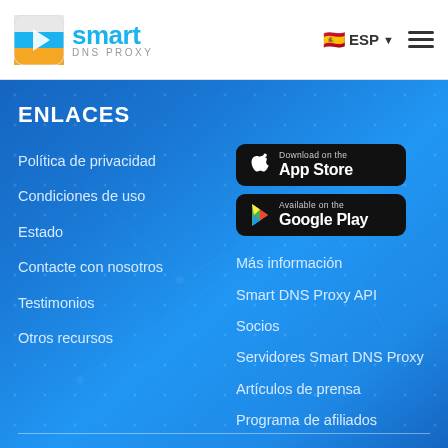Smart DNS Proxy — ESP
ENLACES
Política de privacidad
Condiciones de uso
Estado
Contacte con nosotros
Testimonios
Otros recursos
[Figure (logo): Download on the App Store button (black)]
[Figure (logo): Available on the Google Play button (black)]
Más información
Smart DNS Proxy API
Socios
Servidores Smart DNS Proxy
Artículos de prensa
Programa de afiliados